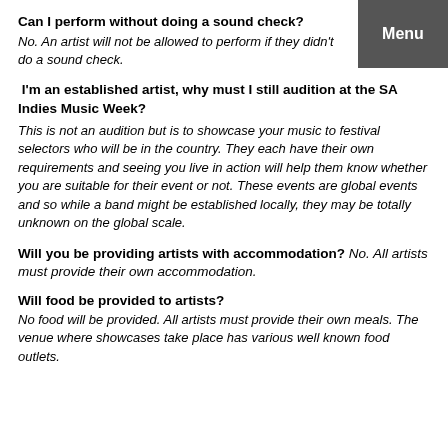Can I perform without doing a sound check?
No. An artist will not be allowed to perform if they didn't do a sound check.
I'm an established artist, why must I still audition at the SA Indies Music Week?
This is not an audition but is to showcase your music to festival selectors who will be in the country. They each have their own requirements and seeing you live in action will help them know whether you are suitable for their event or not. These events are global events and so while a band might be established locally, they may be totally unknown on the global scale.
Will you be providing artists with accommodation?
No. All artists must provide their own accommodation.
Will food be provided to artists?
No food will be provided. All artists must provide their own meals. The venue where showcases take place has various well known food outlets.